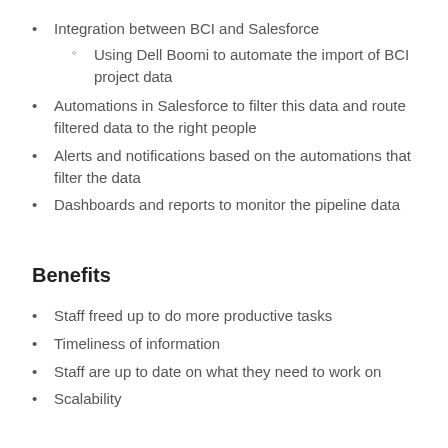Integration between BCI and Salesforce
Using Dell Boomi to automate the import of BCI project data
Automations in Salesforce to filter this data and route filtered data to the right people
Alerts and notifications based on the automations that filter the data
Dashboards and reports to monitor the pipeline data
Benefits
Staff freed up to do more productive tasks
Timeliness of information
Staff are up to date on what they need to work on
Scalability
Quote
Paul Hahn, National Sales Manager, noted that “This integration between BCI and Salesforce has enabled us to consume large quantities of data efficiently, driving the right activities